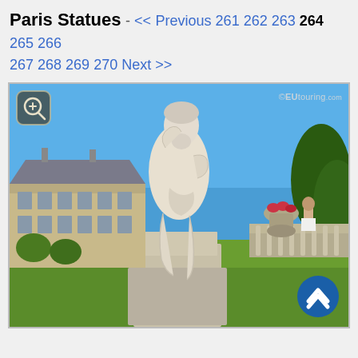Paris Statues - << Previous 261 262 263 264 265 266 267 268 269 270 Next >>
[Figure (photo): Marble statue of a bearded male figure in a contemplative pose, located in the Luxembourg Gardens, Paris. The statue stands on a stone pedestal. Behind it is the Luxembourg Palace building and green lawns, with trees on the right and a decorative urn with flowers. A person is visible in the background near a balustrade. Watermark: ©EUtouring.com. A blue scroll-up button appears in the lower right corner.]